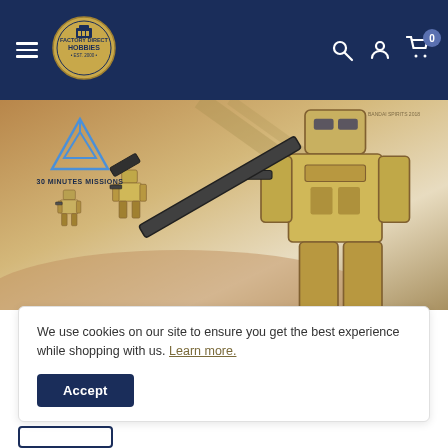[Figure (screenshot): Navigation bar with hamburger menu, Factory Direct Hobbies logo, search icon, account icon, and cart icon with 0 badge on dark navy background]
[Figure (photo): 30 Minutes Missions promotional banner showing multiple gold/tan armored mech robot figures in a desert scene with the 30MM triangular logo]
We use cookies on our site to ensure you get the best experience while shopping with us. Learn more.
Accept